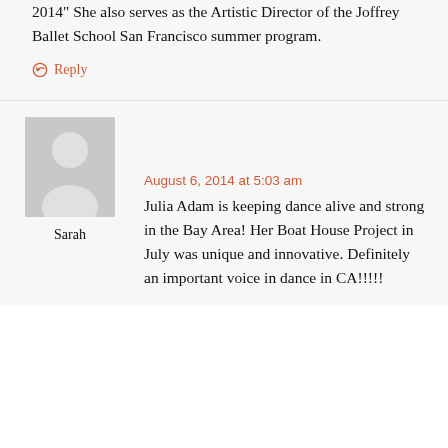2014" She also serves as the Artistic Director of the Joffrey Ballet School San Francisco summer program.
↺ Reply
[Figure (illustration): Generic user avatar placeholder image - grey silhouette of a person on grey background]
Sarah
August 6, 2014 at 5:03 am
Julia Adam is keeping dance alive and strong in the Bay Area! Her Boat House Project in July was unique and innovative. Definitely an important voice in dance in CA!!!!!